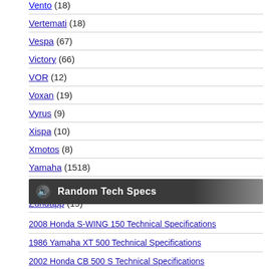Vento (18)
Vertemati (18)
Vespa (67)
Victory (66)
VOR (12)
Voxan (19)
Vyrus (9)
Xispa (10)
Xmotos (8)
Yamaha (1518)
Yangtze (18)
Zundapp (19)
[Figure (other): Random Tech Specs button with icon]
2008 Honda S-WING 150 Technical Specifications
1986 Yamaha XT 500 Technical Specifications
2002 Honda CB 500 S Technical Specifications